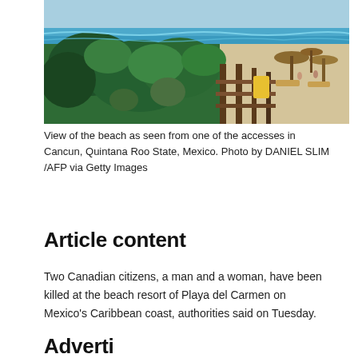[Figure (photo): Aerial/ground-level view of a sandy beach in Cancun, Mexico, with tropical vegetation, palapa-style thatched umbrellas, a wooden boardwalk/deck structure, and the turquoise Caribbean sea in the background.]
View of the beach as seen from one of the accesses in Cancun, Quintana Roo State, Mexico. Photo by DANIEL SLIM /AFP via Getty Images
Article content
Two Canadian citizens, a man and a woman, have been killed at the beach resort of Playa del Carmen on Mexico's Caribbean coast, authorities said on Tuesday.
Advertising